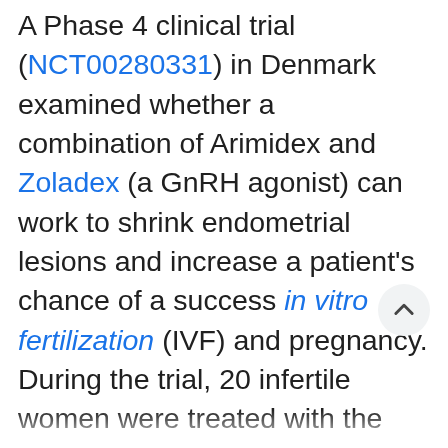A Phase 4 clinical trial (NCT00280331) in Denmark examined whether a combination of Arimidex and Zoladex (a GnRH agonist) can work to shrink endometrial lesions and increase a patient's chance of a success in vitro fertilization (IVF) and pregnancy. During the trial, 20 infertile women were treated with the combined therapy for 10 weeks, then their endometrial lesions were measured to record changes in size. The results, published in the European Journal of Obstetrics & Gynecology and Reproductive Biology, showed that the treatment significantly reduced the volume of endometrial lesions and was